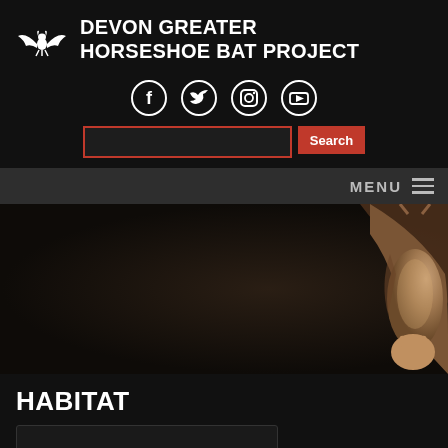DEVON GREATER HORSESHOE BAT PROJECT
[Figure (logo): White silhouette bat icon on black background]
[Figure (infographic): Social media icons: Facebook, Twitter, Instagram, YouTube — white circles with icons on black background]
[Figure (screenshot): Search bar with red border and red Search button]
[Figure (screenshot): MENU navigation bar with hamburger icon on dark grey background]
[Figure (photo): Greater horseshoe bat hanging upside down, brown/tan coloured, on dark brown background, positioned on the right side of the hero area]
HABITAT